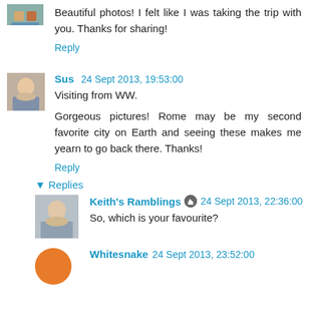Beautiful photos! I felt like I was taking the trip with you. Thanks for sharing!
Reply
Sus 24 Sept 2013, 19:53:00
Visiting from WW.
Gorgeous pictures! Rome may be my second favorite city on Earth and seeing these makes me yearn to go back there. Thanks!
Reply
▾ Replies
Keith's Ramblings 24 Sept 2013, 22:36:00
So, which is your favourite?
Whitesnake 24 Sept 2013, 23:52:00